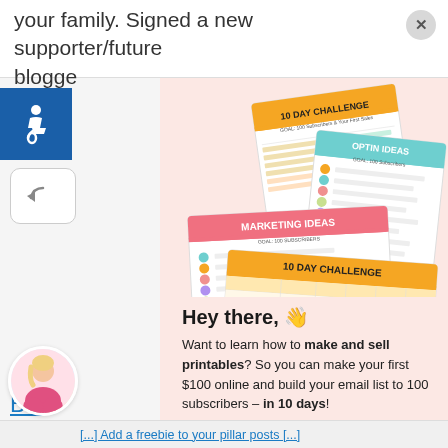your family. Signed a new supporter/future blogger
[Figure (illustration): Stack of printable worksheets/guides including '10 Day Challenge', 'Optin Ideas', 'Marketing Ideas', and '10 Day Challenge' table documents, shown at angles]
Blo
Go
Hey there, 👋
Want to learn how to make and sell printables? So you can make your first $100 online and build your email list to 100 subscribers – in 10 days!
[...] Add a freebie to your pillar posts [...]